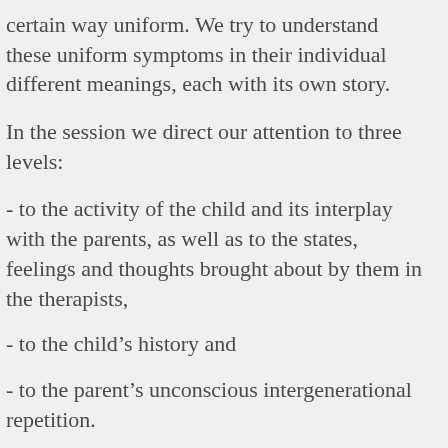certain way uniform. We try to understand these uniform symptoms in their individual different meanings, each with its own story.
In the session we direct our attention to three levels:
- to the activity of the child and its interplay with the parents, as well as to the states, feelings and thoughts brought about by them in the therapists,
- to the child’s history and
- to the parent’s unconscious intergenerational repetition.
The attentive listening of the analysts, as a “third” party coming from outside, brings about a transitional interim space, which functions as a stage (Annette Wattillion-Naveau). In successful cases the issues dealt with and preverbally staged